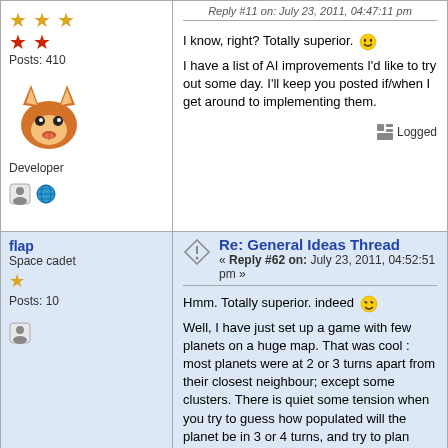Reply #11 on: July 23, 2011, 04:47:11 pm
I know, right? Totally superior. 😊
I have a list of AI improvements I'd like to try out some day. I'll keep you posted if/when I get around to implementing them.
Posts: 410
Developer
Logged
flap
Space cadet
Posts: 10
Re: General Ideas Thread « Reply #62 on: July 23, 2011, 04:52:51 pm »
Hmm. Totally superior. indeed 😎
Well, I have just set up a game with few planets on a huge map. That was cool : most planets were at 2 or 3 turns apart from their closest neighbour; except some clusters. There is quiet some tension when you try to guess how populated will the planet be in 3 or 4 turns, and try to plan some expansion an reinforcement 4 or 5 turns away.
Anyway, I might try to write down the some strategies a bit later, that could give you some more ideas.